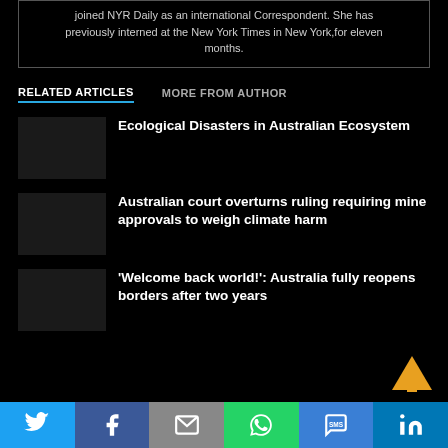joined NYR Daily as an international Correspondent. She has previously interned at the New York Times in New York,for eleven months.
RELATED ARTICLES   MORE FROM AUTHOR
Ecological Disasters in Australian Ecosystem
Australian court overturns ruling requiring mine approvals to weigh climate harm
'Welcome back world!': Australia fully reopens borders after two years